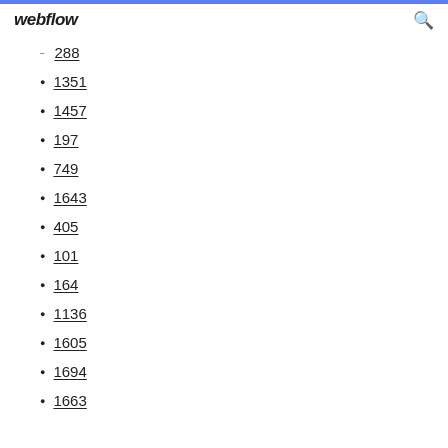webflow
288
1351
1457
197
749
1643
405
101
164
1136
1605
1694
1663